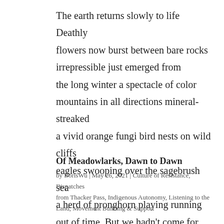The earth returns slowly to life Deathly flowers now burst between bare rocks irrepressible just emerged from the long winter a spectacle of color mountains in all directions mineral-streaked a vivid orange fungi bird nests on wild cliffs eagles swooping over the sagebrush sea a herd of pronghorn playing running out of time. But we hadn't come for the scenery We came to block the mine.
Of Meadowlarks, Dawn to Dawn
by BorisWu | May 26, 2021 | Culture of Resistance, Dispatches from Thacker Pass, Indigenous Autonomy, Listening to the Land, Movement Building & Support